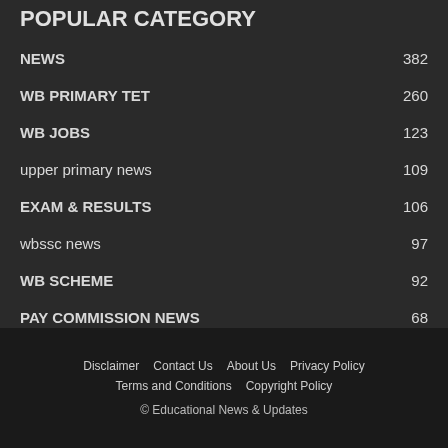POPULAR CATEGORY
NEWS 382
WB PRIMARY TET 260
WB JOBS 123
upper primary news 109
EXAM & RESULTS 106
wbssc news 97
WB SCHEME 92
PAY COMMISSION NEWS 68
Salary Calculators (6th pay commission,prt scale,etc) 49
Disclaimer  Contact Us  About Us  Privacy Policy  Terms and Conditions  Copyright Policy  © Educational News & Updates